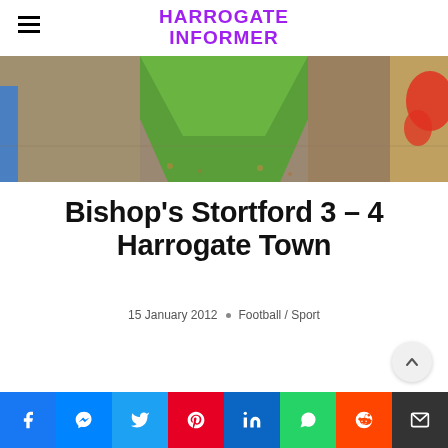HARROGATE INFORMER
[Figure (photo): Aerial view of a football pitch corner with green grass, dirt paths, and graffiti on the right edge]
Bishop's Stortford 3 – 4 Harrogate Town
15 January 2012 · Football / Sport